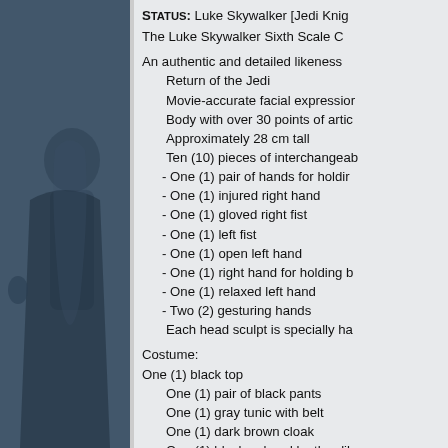[Figure (photo): Left panel showing a partial image of Luke Skywalker figure/character on a dark blue-gray background]
Status: Luke Skywalker [Jedi Knig...
The Luke Skywalker Sixth Scale C...
An authentic and detailed likeness...
Return of the Jedi
Movie-accurate facial expression...
Body with over 30 points of artic...
Approximately 28 cm tall
Ten (10) pieces of interchangeab...
- One (1) pair of hands for holdin...
- One (1) injured right hand
- One (1) gloved right fist
- One (1) left fist
- One (1) open left hand
- One (1) right hand for holding b...
- One (1) relaxed left hand
- Two (2) gesturing hands
Each head sculpt is specially ha...
Costume:
One (1) black top
One (1) pair of black pants
One (1) gray tunic with belt
One (1) dark brown cloak
One (1) black-colored leather-lik... colored button clips
One (1) pair of black-colored lea...